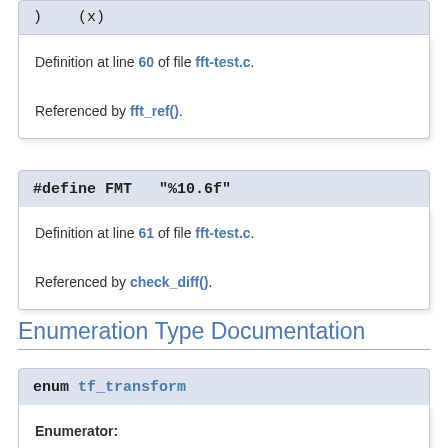)   (x)
Definition at line 60 of file fft-test.c.
Referenced by fft_ref().
#define FMT   "%10.6f"
Definition at line 61 of file fft-test.c.
Referenced by check_diff().
Enumeration Type Documentation
enum tf_transform
Enumerator:
  TRANSFORM_FFT
  TRANSFORM_MDCT